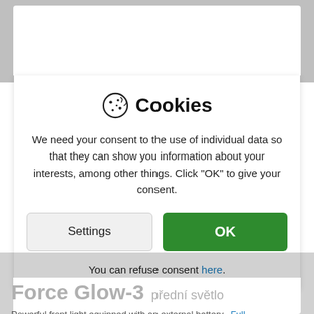Cookies
We need your consent to the use of individual data so that they can show you information about your interests, among other things. Click "OK" to give your consent.
Settings
OK
You can refuse consent here.
Force Glow-3 přední světlo
Powerful front light equipped with an external battery. Full